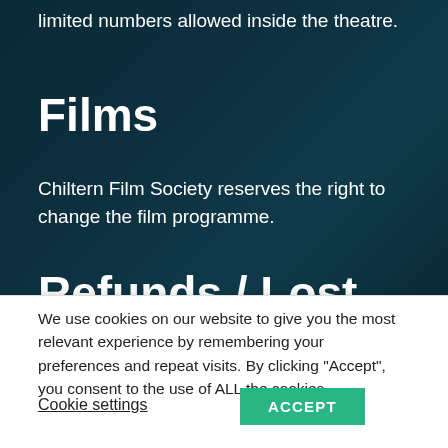limited numbers allowed inside the theatre.
Films
Chiltern Film Society reserves the right to change the film programme.
Refunds / Lost
We use cookies on our website to give you the most relevant experience by remembering your preferences and repeat visits. By clicking “Accept”, you consent to the use of ALL the cookies.
Cookie settings
ACCEPT